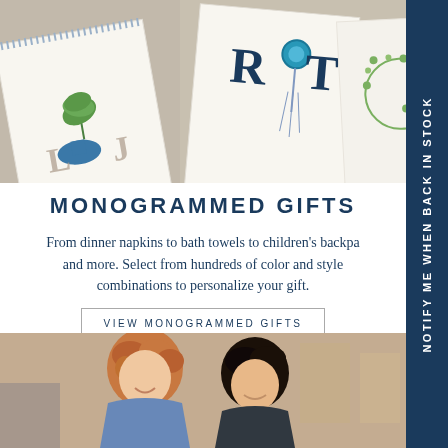[Figure (photo): Top photo showing monogrammed white towels/napkins with embroidered letters LJ, RoT, and a wreath design, with fringe edges on a textured background]
MONOGRAMMED GIFTS
From dinner napkins to bath towels to children's backpacks and more. Select from hundreds of color and style combinations to personalize your gift.
VIEW MONOGRAMMED GIFTS
[Figure (photo): Bottom photo showing two women smiling and looking down, one with curly auburn hair in a blue shirt, one with dark hair, in a shop setting]
NOTIFY ME WHEN BACK IN STOCK